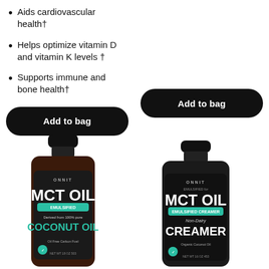Aids cardiovascular health†
Helps optimize vitamin D and vitamin K levels †
Supports immune and bone health†
[Figure (photo): Black rounded button labeled 'Add to bag' on left side]
[Figure (photo): Black rounded button labeled 'Add to bag' on right side]
[Figure (photo): Onnit MCT Oil bottle with Coconut Oil label, dark amber bottle with black cap]
[Figure (photo): Onnit MCT Oil Non-Dairy Creamer bottle, dark bottle with black cap]